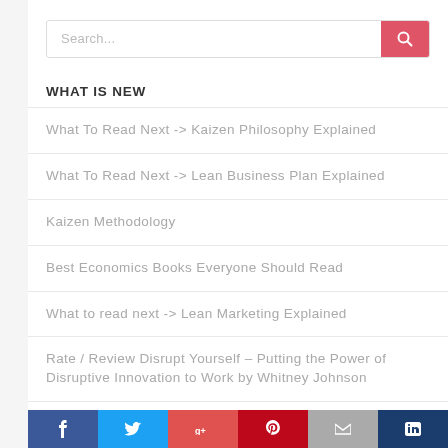[Figure (screenshot): Search input field with red search button containing a magnifying glass icon]
WHAT IS NEW
What To Read Next -> Kaizen Philosophy Explained
What To Read Next -> Lean Business Plan Explained
Kaizen Methodology
Best Economics Books Everyone Should Read
What to read next -> Lean Marketing Explained
Rate / Review Disrupt Yourself – Putting the Power of Disruptive Innovation to Work by Whitney Johnson
Rate / Review Influencer – The New Science of Leading Change by Joseph Grenny
Social share buttons: Facebook, Twitter, Google+, Pinterest, Email, Other